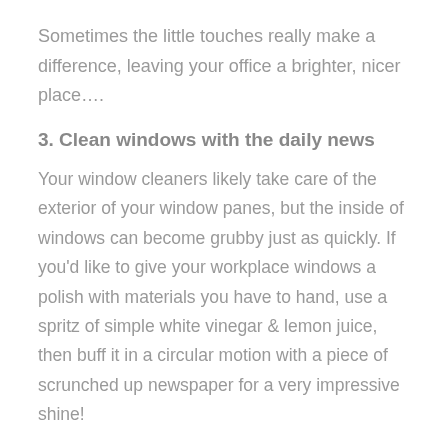Sometimes the little touches really make a difference, leaving your office a brighter, nicer place….
3. Clean windows with the daily news
Your window cleaners likely take care of the exterior of your window panes, but the inside of windows can become grubby just as quickly. If you'd like to give your workplace windows a polish with materials you have to hand, use a spritz of simple white vinegar & lemon juice, then buff it in a circular motion with a piece of scrunched up newspaper for a very impressive shine!
I hope you enjoyed these weird office cleaning tips